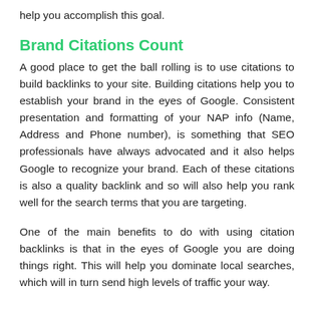help you accomplish this goal.
Brand Citations Count
A good place to get the ball rolling is to use citations to build backlinks to your site. Building citations help you to establish your brand in the eyes of Google. Consistent presentation and formatting of your NAP info (Name, Address and Phone number), is something that SEO professionals have always advocated and it also helps Google to recognize your brand. Each of these citations is also a quality backlink and so will also help you rank well for the search terms that you are targeting.
One of the main benefits to do with using citation backlinks is that in the eyes of Google you are doing things right. This will help you dominate local searches, which will in turn send high levels of traffic your way.